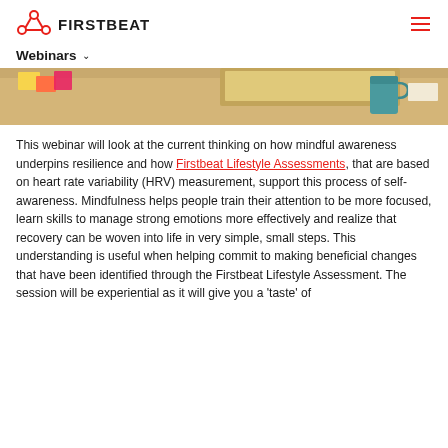FIRSTBEAT
Webinars
[Figure (photo): A wooden desk surface with sticky notes, a monitor or laptop, and a teal mug]
This webinar will look at the current thinking on how mindful awareness underpins resilience and how Firstbeat Lifestyle Assessments, that are based on heart rate variability (HRV) measurement, support this process of self-awareness. Mindfulness helps people train their attention to be more focused, learn skills to manage strong emotions more effectively and realize that recovery can be woven into life in very simple, small steps. This understanding is useful when helping commit to making beneficial changes that have been identified through the Firstbeat Lifestyle Assessment. The session will be experiential as it will give you a 'taste' of